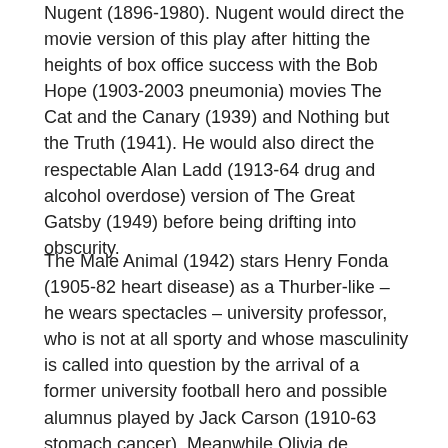Nugent (1896-1980). Nugent would direct the movie version of this play after hitting the heights of box office success with the Bob Hope (1903-2003 pneumonia) movies The Cat and the Canary (1939) and Nothing but the Truth (1941). He would also direct the respectable Alan Ladd (1913-64 drug and alcohol overdose) version of The Great Gatsby (1949) before being drifting into obscurity.
The Male Animal (1942) stars Henry Fonda (1905-82 heart disease) as a Thurber-like – he wears spectacles – university professor, who is not at all sporty and whose masculinity is called into question by the arrival of a former university football hero and possible alumnus played by Jack Carson (1910-63 stomach cancer). Meanwhile Olivia de Havilland (1916-2020) plays Fonda's wife who is rekindling her past romance with the sportsman who delivers tales of his former glories through the positioning of cups and saucers on the floor of Fonda's home which he